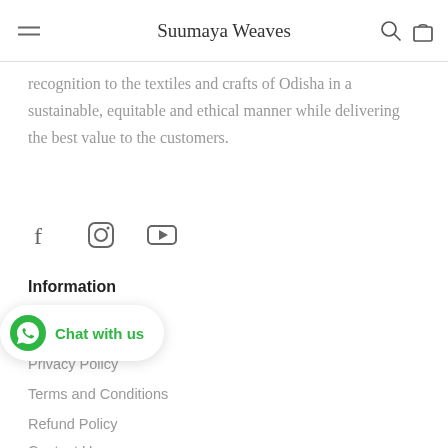Suumaya Weaves
recognition to the textiles and crafts of Odisha in a sustainable, equitable and ethical manner while delivering the best value to the customers.
[Figure (other): Social media icons: Facebook, Instagram, YouTube]
Information
[Figure (other): WhatsApp Chat with us button]
Privacy Policy
Terms and Conditions
Refund Policy
Contact Us